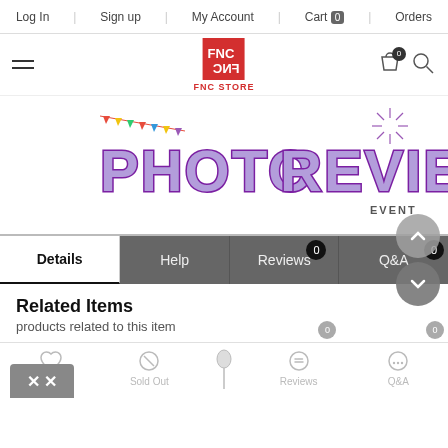Log In | Sign up | My Account | Cart 0 | Orders
[Figure (logo): FNC Store logo — red square with FNC letters in white, text FNC STORE below]
[Figure (illustration): Photo Review Event banner with colorful bubble letters PHOTO REVIEW in purple with decorative starburst lines and triangle bunting flags]
Details  Help  Reviews 0  Q&A 0
Related Items
products related to this item
Wish List  Sold Out  Reviews 0  Q&A 0